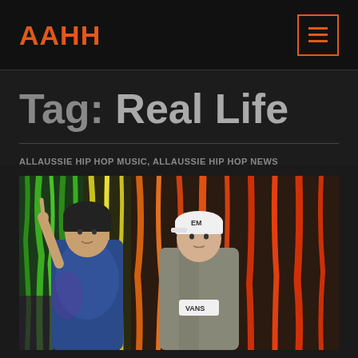AAHH
Tag: Real Life
ALLAUSSIE HIP HOP MUSIC, ALLAUSSIE HIP HOP NEWS
[Figure (photo): Two young men posing in front of a paint-splattered wall with rainbow colors (green, yellow, orange, red). The person on the left wears a dark beanie and blue tie-dye shirt, pointing upward with one finger. The person on the right wears a white cap with a logo, grey hoodie, and a Vans shirt.]